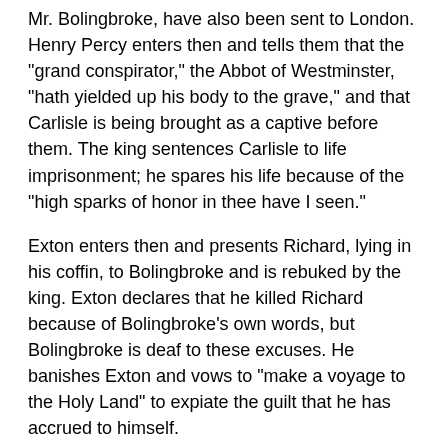Mr. Bolingbroke, have also been sent to London. Henry Percy enters then and tells them that the "grand conspirator," the Abbot of Westminster, "hath yielded up his body to the grave," and that Carlisle is being brought as a captive before them. The king sentences Carlisle to life imprisonment; he spares his life because of the "high sparks of honor in thee have I seen."
Exton enters then and presents Richard, lying in his coffin, to Bolingbroke and is rebuked by the king. Exton declares that he killed Richard because of Bolingbroke's own words, but Bolingbroke is deaf to these excuses. He banishes Exton and vows to "make a voyage to the Holy Land" to expiate the guilt that he has accrued to himself.
Analysis
In Scene 1, we see Richard in a close-up portrait with his wife, and the emotional quality of the scene balances that of the